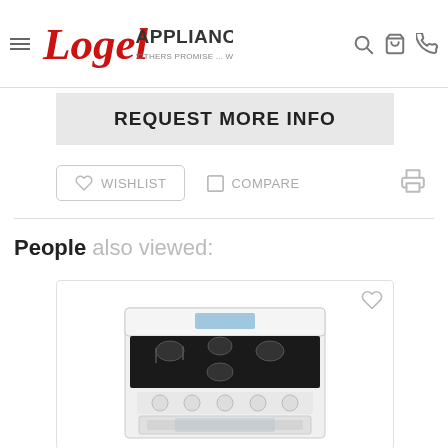Logel Appliance – 'Others Promise… We Deliver'
REQUEST MORE INFO
WISHLIST
COMPARE
People also viewed:
[Figure (photo): White freestanding gas range with 5 burners, digital display, and oven window, shown in a product listing card on Logel Appliance website]